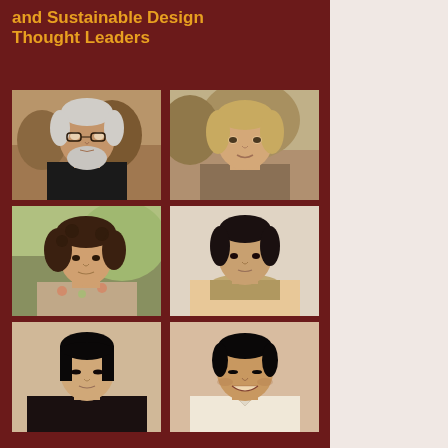and Sustainable Design Thought Leaders
[Figure (photo): Grid of six black-and-white/sepia portrait photos of thought leaders in sustainable design. Top row: elderly man with glasses and white beard, middle-aged woman with short blonde hair. Middle row: younger woman with curly hair outdoors, woman with dark hair and scarf. Bottom row: Asian woman with short dark hair, Asian man smiling.]